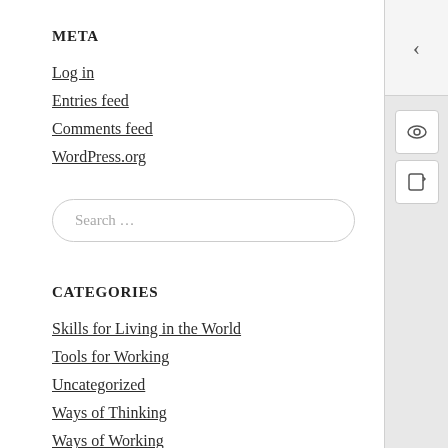META
Log in
Entries feed
Comments feed
WordPress.org
Search ...
CATEGORIES
Skills for Living in the World
Tools for Working
Uncategorized
Ways of Thinking
Ways of Working